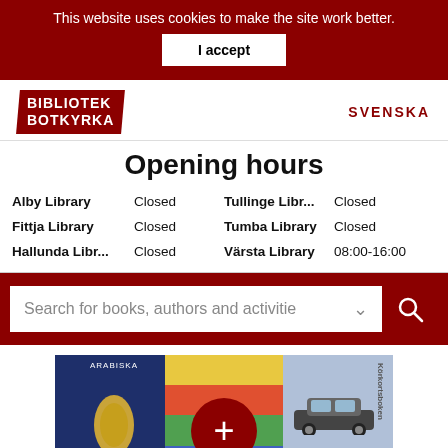This website uses cookies to make the site work better.
I accept
[Figure (logo): Bibliotek Botkyrka logo — white text on dark red parallelogram shape]
SVENSKA
Opening hours
| Library | Status | Library | Status |
| --- | --- | --- | --- |
| Alby Library | Closed | Tullinge Libr... | Closed |
| Fittja Library | Closed | Tumba Library | Closed |
| Hallunda Libr... | Closed | Värsta Library | 08:00-16:00 |
Search for books, authors and activitie
[Figure (photo): Three overlapping book covers: an Arabic language book with blue cover and yellow map of Sweden, a colorful geometric cover with a red circle and plus sign, and a driving manual cover with a car photo]